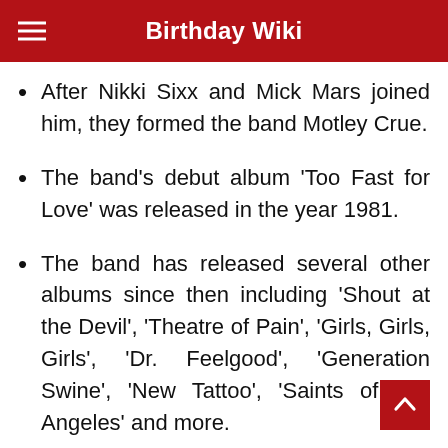Birthday Wiki
After Nikki Sixx and Mick Mars joined him, they formed the band Motley Crue.
The band’s debut album ‘Too Fast for Love’ was released in the year 1981.
The band has released several other albums since then including ‘Shout at the Devil’, ‘Theatre of Pain’, ‘Girls, Girls, Girls’, ‘Dr. Feelgood’, ‘Generation Swine’, ‘New Tattoo’, ‘Saints of Los Angeles’ and more.